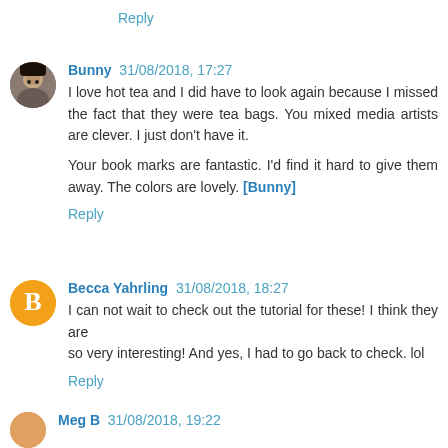Reply
Bunny 31/08/2018, 17:27
I love hot tea and I did have to look again because I missed the fact that they were tea bags. You mixed media artists are clever. I just don't have it.

Your book marks are fantastic. I'd find it hard to give them away. The colors are lovely. [Bunny]
Reply
Becca Yahrling 31/08/2018, 18:27
I can not wait to check out the tutorial for these! I think they are
so very interesting! And yes, I had to go back to check. lol
Reply
Meg B 31/08/2018, 19:22